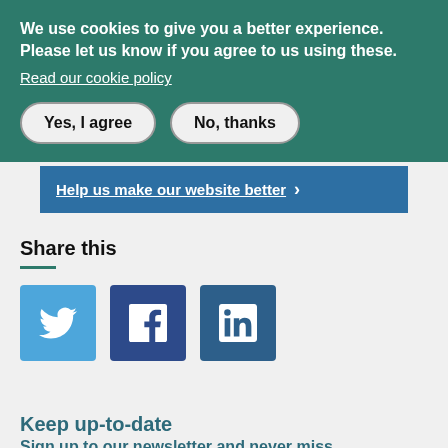We use cookies to give you a better experience. Please let us know if you agree to us using these.
Read our cookie policy
Yes, I agree
No, thanks
Help us make our website better ›
Share this
[Figure (infographic): Social media share icons: Twitter (light blue), Facebook (dark blue), LinkedIn (dark blue)]
Keep up-to-date
Sign up to our newsletter and never miss